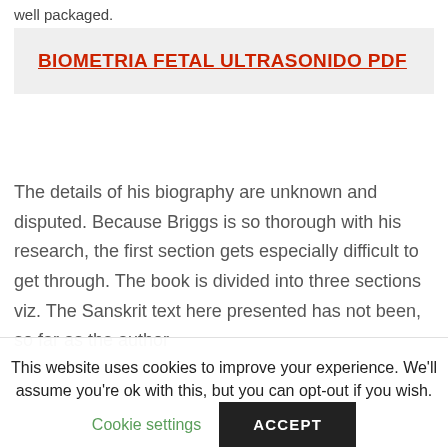well packaged.
BIOMETRIA FETAL ULTRASONIDO PDF
The details of his biography are unknown and disputed. Because Briggs is so thorough with his research, the first section gets especially difficult to get through. The book is divided into three sections viz. The Sanskrit text here presented has not been, so far as the author
This website uses cookies to improve your experience. We'll assume you're ok with this, but you can opt-out if you wish.
Cookie settings
ACCEPT